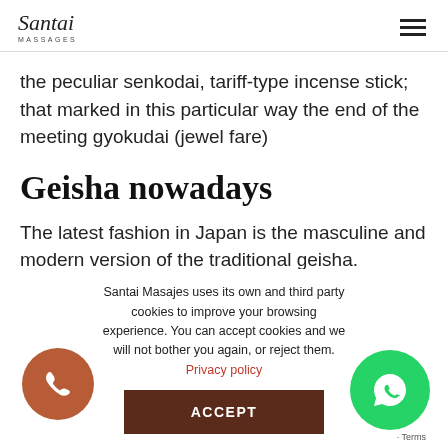Santai Massages
the peculiar senkodai, tariff-type incense stick; that marked in this particular way the end of the meeting gyokudai (jewel fare)
Geisha nowadays
The latest fashion in Japan is the masculine and modern version of the traditional geisha.
Santai Masajes uses its own and third party cookies to improve your browsing experience. You can accept cookies and we will not bother you again, or reject them. Privacy policy